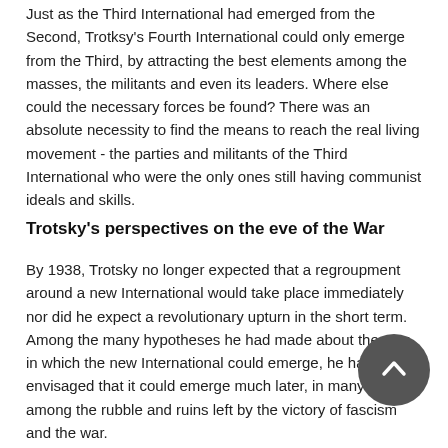Just as the Third International had emerged from the Second, Trotksy's Fourth International could only emerge from the Third, by attracting the best elements among the masses, the militants and even its leaders. Where else could the necessary forces be found? There was an absolute necessity to find the means to reach the real living movement - the parties and militants of the Third International who were the only ones still having communist ideals and skills.
Trotsky's perspectives on the eve of the War
By 1938, Trotsky no longer expected that a regroupment around a new International would take place immediately nor did he expect a revolutionary upturn in the short term. Among the many hypotheses he had made about the way in which the new International could emerge, he had even envisaged that it could emerge much later, in many years, among the rubble and ruins left by the victory of fascism and the war.